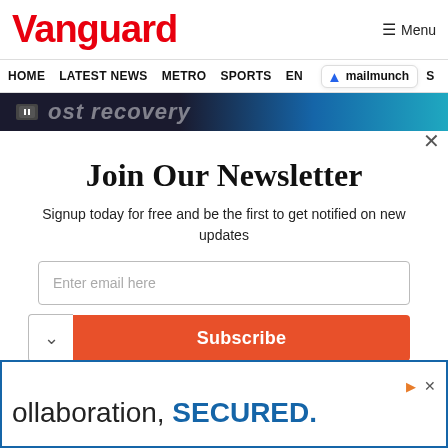Vanguard
HOME  LATEST NEWS  METRO  SPORTS  EN  mailmunch  S
[Figure (screenshot): Dark banner strip with faded text and icon, with a close (X) button]
Join Our Newsletter
Signup today for free and be the first to get notified on new updates
Enter email here
Subscribe
[Figure (screenshot): Bottom advertisement banner with text: ollaboration, SECURED.]